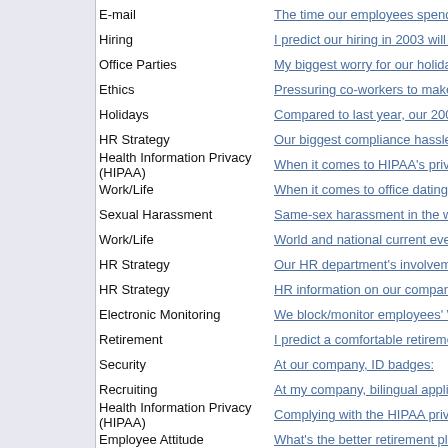E-mail
The time our employees spend o...
Hiring
I predict our hiring in 2003 will ...
Office Parties
My biggest worry for our holiday ...
Ethics
Pressuring co-workers to make c...
Holidays
Compared to last year, our 2002 ...
HR Strategy
Our biggest compliance hassles ...
Health Information Privacy (HIPAA)
When it comes to HIPAA's privac...
Work/Life
When it comes to office dating:
Sexual Harassment
Same-sex harassment in the wor...
Work/Life
World and national current event...
HR Strategy
Our HR department's involveme...
HR Strategy
HR information on our company's...
Electronic Monitoring
We block/monitor employees' WE...
Retirement
I predict a comfortable retirement...
Security
At our company, ID badges:
Recruiting
At my company, bilingual applica...
Health Information Privacy (HIPAA)
Complying with the HIPAA privac...
Employee Attitude
What's the better retirement plan...
Emergency Closings
How is your company planning to...